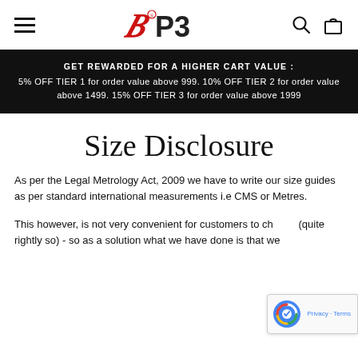BP3 — navigation header with hamburger menu, logo, search and cart icons
GET REWARDED FOR A HIGHER CART VALUE : 5% OFF TIER 1 for order value above 999. 10% OFF TIER 2 for order value above 1499. 15% OFF TIER 3 for order value above 1999
Size Disclosure
As per the Legal Metrology Act, 2009 we have to write our size guides as per standard international measurements i.e CMS or Metres.
This however, is not very convenient for customers to ch... (quite rightly so) - so as a solution what we have done is that we